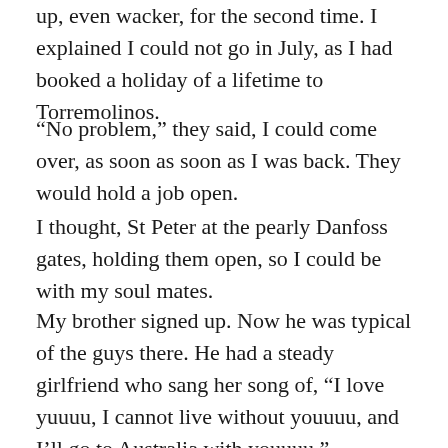up, even wacker, for the second time. I explained I could not go in July, as I had booked a holiday of a lifetime to Torremolinos.
“No problem,” they said, I could come over, as soon as soon as I was back. They would hold a job open.
I thought, St Peter at the pearly Danfoss gates, holding them open, so I could be with my soul mates.
My brother signed up. Now he was typical of the guys there. He had a steady girlfriend who sang her song of, “I love yuuuu, I cannot live without youuuu, and I’ll go to Australia with youuuu.”